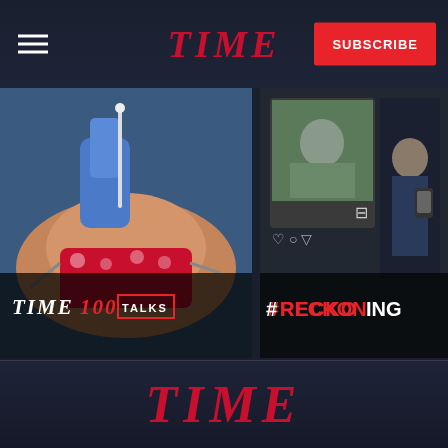TIME
[Figure (screenshot): TIME 100 Talks thumbnail showing a medical professional in blue scrubs and gloves performing a nasal swab on a patient wearing a floral cloth mask]
[Figure (screenshot): #RECKONING thumbnail showing a social media/Instagram style image with photos of people and protest imagery]
TIME